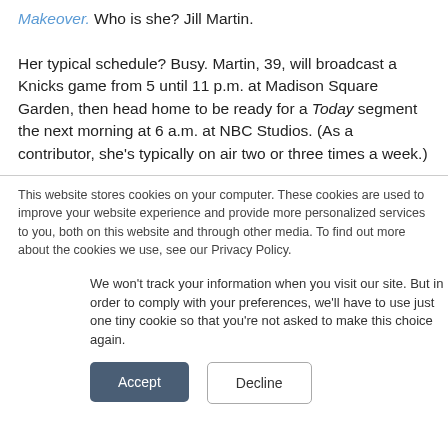Makeover. Who is she? Jill Martin.

Her typical schedule? Busy. Martin, 39, will broadcast a Knicks game from 5 until 11 p.m. at Madison Square Garden, then head home to be ready for a Today segment the next morning at 6 a.m. at NBC Studios. (As a contributor, she's typically on air two or three times a week.)
This website stores cookies on your computer. These cookies are used to improve your website experience and provide more personalized services to you, both on this website and through other media. To find out more about the cookies we use, see our Privacy Policy.
We won't track your information when you visit our site. But in order to comply with your preferences, we'll have to use just one tiny cookie so that you're not asked to make this choice again.
Accept
Decline